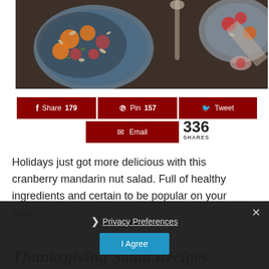[Figure (photo): Top-down food photography showing bowls of cranberry mandarin nut salad on a dark rustic surface with spoons]
Share 179
Pin 157
Tweet
Email
336 SHARES
Holidays just got more delicious with this cranberry mandarin nut salad. Full of healthy ingredients and certain to be popular on your table!
❯ Privacy Preferences
I Agree
Thanksgiving Salad Recipes